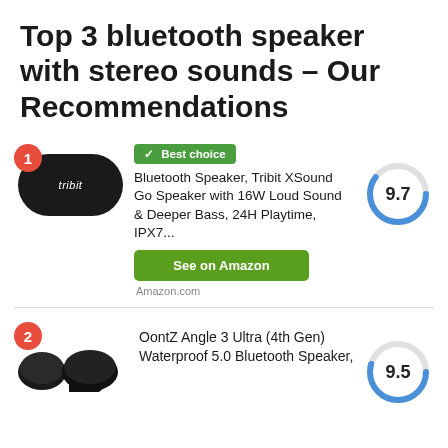Top 3 bluetooth speaker with stereo sounds – Our Recommendations
[Figure (infographic): Product card #1: Tribit XSound Go Bluetooth Speaker with badge 'Best choice', score 9.7, and See on Amazon button]
[Figure (infographic): Product card #2: OontZ Angle 3 Ultra (4th Gen) Waterproof 5.0 Bluetooth Speaker with score 9.5]